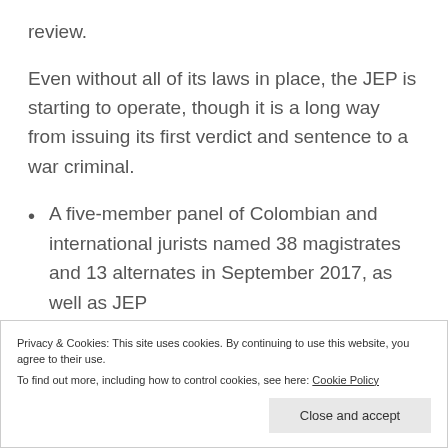review.
Even without all of its laws in place, the JEP is starting to operate, though it is a long way from issuing its first verdict and sentence to a war criminal.
A five-member panel of Colombian and international jurists named 38 magistrates and 13 alternates in September 2017, as well as JEP
Privacy & Cookies: This site uses cookies. By continuing to use this website, you agree to their use.
To find out more, including how to control cookies, see here: Cookie Policy
Close and accept